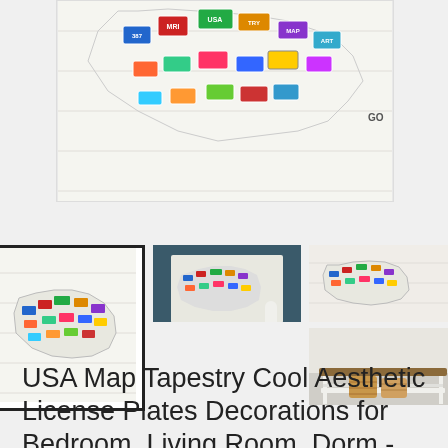[Figure (photo): Main product image showing USA map tapestry made from license plates on white wood background, partially cropped at top]
[Figure (photo): Thumbnail 1 (selected/active): USA map tapestry on white background]
[Figure (photo): Thumbnail 2: USA map tapestry hung on wall in room setting with blue vase]
[Figure (photo): Thumbnail 3 top: USA map tapestry close-up on white wood]
[Figure (photo): Thumbnail 3 bottom: White shelf/console table with wicker baskets]
USA Map Tapestry Cool Aesthetic License Plates Decorations for Bedroom, Living Room, Dorm - Vintage